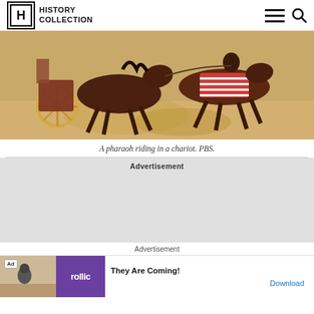HISTORY COLLECTION
[Figure (photo): Horses pulling a chariot at speed across a sandy desert landscape, with a rider in striped red and white fabric visible]
A pharaoh riding in a chariot. PBS.
Advertisement
Advertisement
[Figure (screenshot): Mobile advertisement banner for Rollic game 'They Are Coming!' with a Download button]